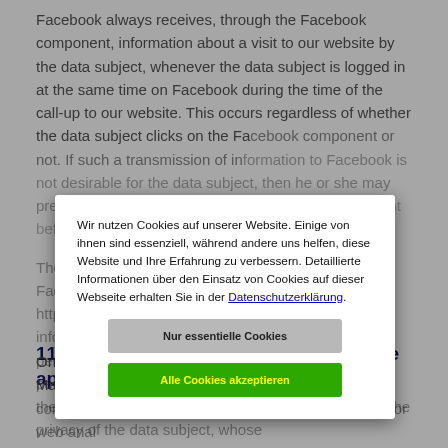Facebook always receives, through the Facebook component, information about a visit to our website by the data subject, whenever the data subject is logged in at the same time on Facebook during the time of the call-up to our website. This occurs regardless of whether the data subject clicks on the Facebook component or not. If such a transmission of information to Facebook is not desirable for the data subject, then he or she may prevent this by logging off from their Facebook account before a call-up to our website is made.
The further data protection provisions published by Facebook, which can be found at https://facebook.com/about/privacy/, provide information on the collection, processing and use of personal data by Facebook. In addition, it is explained there what setting options Facebook offers to protect the privacy of the data subject. In addition, different applications are available that make it possible to suppress data transmission to Facebook. Such applications can be used by the data subject to suppress a data transmission to Facebook.
[Figure (screenshot): Cookie consent modal dialog in German. Text: 'Wir nutzen Cookies auf unserer Website. Einige von ihnen sind essenziell, während andere uns helfen, diese Website und Ihre Erfahrung zu verbessern. Detaillierte Informationen über den Einsatz von Cookies auf dieser Webseite erhalten Sie in der Datenschutzerklärung.' Two buttons: 'Nur essentielle Cookies' (gray) and 'Alle Cookies akzeptieren' (green with yellow text).]
11. Data protection provisions about the application and use of Matomo
On this website, the controller has integrated the Matomo component. Matomo is an open-source software tool for web analysis.